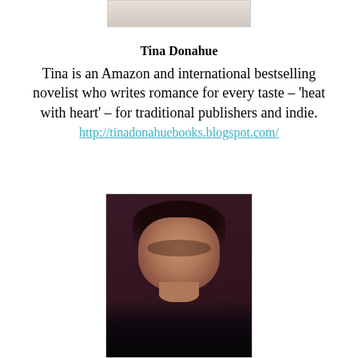[Figure (photo): Partial photo at top of page, cropped, showing bottom portion of an image]
Tina Donahue
Tina is an Amazon and international bestselling novelist who writes romance for every taste – ‘heat with heart’ – for traditional publishers and indie.
http://tinadonahuebooks.blogspot.com/
[Figure (photo): Portrait photo of Tina Donahue, a woman with dark hair, smiling, wearing a dark patterned top, against a dark floral/patterned background]